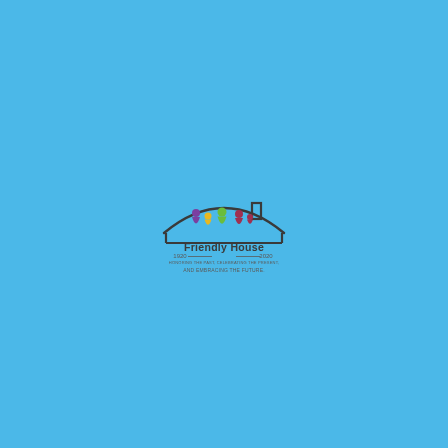[Figure (logo): Friendly House 1920-2020 anniversary logo. A house outline in dark gray with colorful silhouette figures inside (purple, yellow, green, red/maroon). Text reads 'Friendly House' with '1920' on left and '2020' on right, and tagline 'HONORING THE PAST, CELEBRATING THE PRESENT, AND EMBRACING THE FUTURE.']